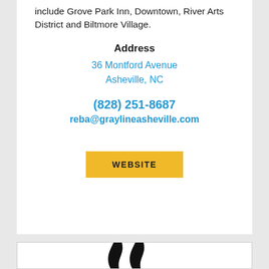include Grove Park Inn, Downtown, River Arts District and Biltmore Village.
Address
36 Montford Avenue
Asheville, NC
(828) 251-8687
reba@graylineasheville.com
WEBSITE
[Figure (logo): Two stylized flame or swirl shapes forming a logo mark in black]